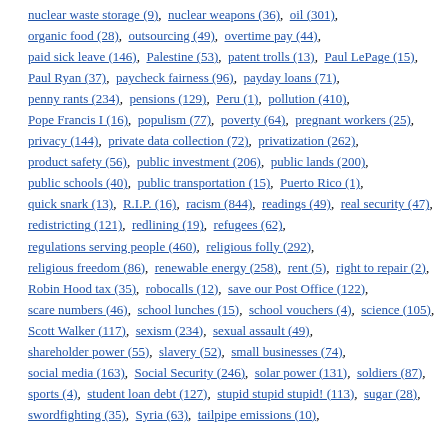nuclear waste storage (9),  nuclear weapons (36),  oil (301),
organic food (28),  outsourcing (49),  overtime pay (44),
paid sick leave (146),  Palestine (53),  patent trolls (13),  Paul LePage (15),
Paul Ryan (37),  paycheck fairness (96),  payday loans (71),
penny rants (234),  pensions (129),  Peru (1),  pollution (410),
Pope Francis I (16),  populism (77),  poverty (64),  pregnant workers (25),
privacy (144),  private data collection (72),  privatization (262),
product safety (56),  public investment (206),  public lands (200),
public schools (40),  public transportation (15),  Puerto Rico (1),
quick snark (13),  R.I.P. (16),  racism (844),  readings (49),  real security (47),
redistricting (121),  redlining (19),  refugees (62),
regulations serving people (460),  religious folly (292),
religious freedom (86),  renewable energy (258),  rent (5),  right to repair (2),
Robin Hood tax (35),  robocalls (12),  save our Post Office (122),
scare numbers (46),  school lunches (15),  school vouchers (4),  science (105),
Scott Walker (117),  sexism (234),  sexual assault (49),
shareholder power (55),  slavery (52),  small businesses (74),
social media (163),  Social Security (246),  solar power (131),  soldiers (87),
sports (4),  student loan debt (127),  stupid stupid stupid! (113),  sugar (28),
swordfighting (35),  Syria (63),  tailpipe emissions (10),